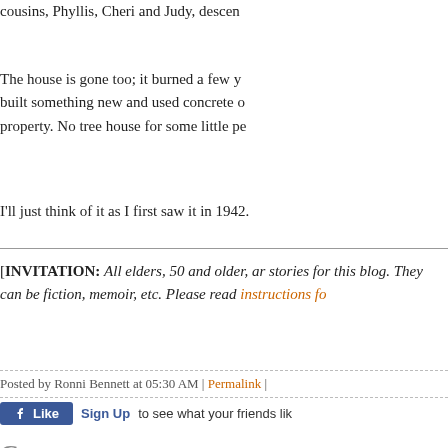cousins, Phyllis, Cheri and Judy, descen
The house is gone too; it burned a few y built something new and used concrete o property. No tree house for some little pe
I'll just think of it as I first saw it in 1942.
[INVITATION: All elders, 50 and older, ar stories for this blog. They can be fiction, memoir, etc. Please read instructions fo
Posted by Ronni Bennett at 05:30 AM | Permalink |
[Figure (other): Facebook Like button with Sign Up link]
Comments
Just lovely...isn't it amazing what memori minds for all the years..we had one of the sets too..horsehair is what many of my fr of..I remember never sitting on it without something to cover the legs..cats seeme